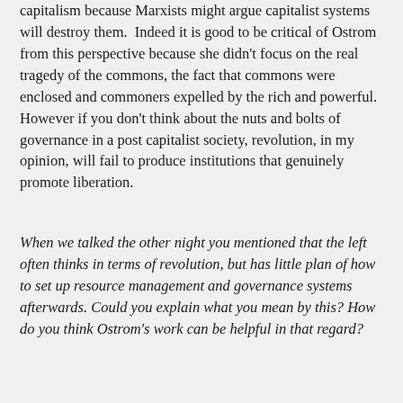capitalism because Marxists might argue capitalist systems will destroy them. Indeed it is good to be critical of Ostrom from this perspective because she didn't focus on the real tragedy of the commons, the fact that commons were enclosed and commoners expelled by the rich and powerful. However if you don't think about the nuts and bolts of governance in a post capitalist society, revolution, in my opinion, will fail to produce institutions that genuinely promote liberation.
When we talked the other night you mentioned that the left often thinks in terms of revolution, but has little plan of how to set up resource management and governance systems afterwards. Could you explain what you mean by this? How do you think Ostrom's work can be helpful in that regard?